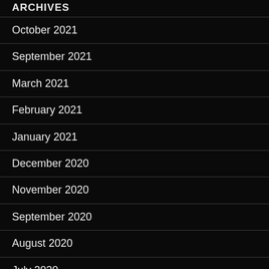ARCHIVES
October 2021
September 2021
March 2021
February 2021
January 2021
December 2020
November 2020
September 2020
August 2020
July 2020
June 2020
May 2020